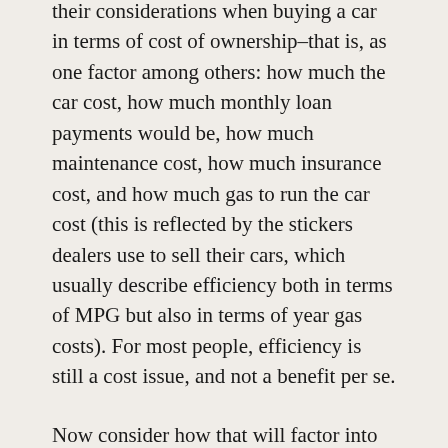their considerations when buying a car in terms of cost of ownership–that is, as one factor among others: how much the car cost, how much monthly loan payments would be, how much maintenance cost, how much insurance cost, and how much gas to run the car cost (this is reflected by the stickers dealers use to sell their cars, which usually describe efficiency both in terms of MPG but also in terms of year gas costs). For most people, efficiency is still a cost issue, and not a benefit per se.
Now consider how that will factor into the choice of a vehicle. For a lot of people, all those cost calculations will be less important than perceived safety or utility arguments. So if having something that feels like a tank is really important to you, you're going to buy something that feels like a tank